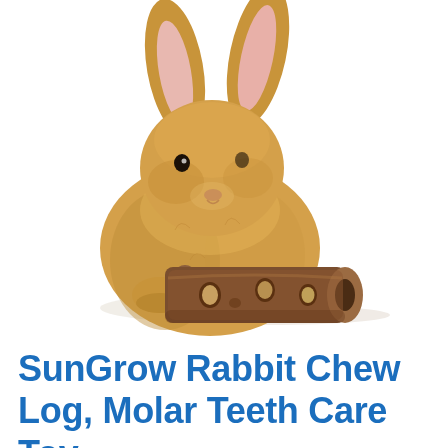[Figure (photo): A small fluffy brown/tan rabbit sitting behind a wooden chew log toy. The wooden log is hollow with small round holes on its surface. White background.]
SunGrow Rabbit Chew Log, Molar Teeth Care Toy